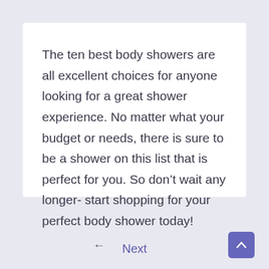The ten best body showers are all excellent choices for anyone looking for a great shower experience. No matter what your budget or needs, there is sure to be a shower on this list that is perfect for you. So don't wait any longer- start shopping for your perfect body shower today!
← Next ∧